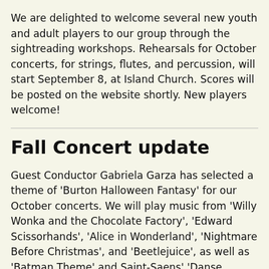We are delighted to welcome several new youth and adult players to our group through the sightreading workshops. Rehearsals for our October concerts, for strings, flutes, and percussion, will start September 8, at Island Church. Scores will be posted on the website shortly. New players welcome!
Fall Concert update
Guest Conductor Gabriela Garza has selected a theme of 'Burton Halloween Fantasy' for our October concerts. We will play music from 'Willy Wonka and the Chocolate Factory', 'Edward Scissorhands', 'Alice in Wonderland', 'Nightmare Before Christmas', and 'Beetlejuice', as well as 'Batman Theme' and Saint-Saens' 'Danse Macabre'. Dance and narration will fill out a multimedia event.
The October concerts will be scored for strings, flutes, and percussion. Music scores will be posted on the website soon. The December concerts to follow will involve the entire orchestra including WOODWINDS and BRASS, playing a largely seasonal program. Check the website for details!
Thanks for Supporting Ukrainian Ref...